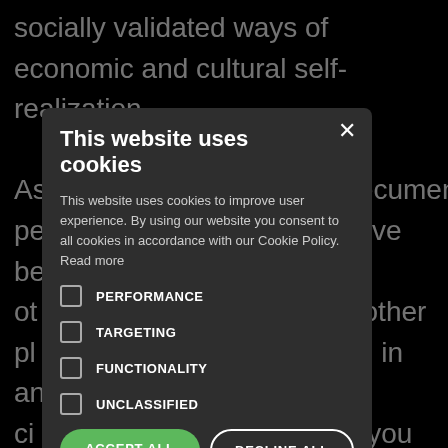socially validated ways of economic and cultural self-realization.
As… documentary, pe… have been ot… in other pl… cly: in another ci… like you feel lik… and others might th… Hengdian. In H… the concept fr… are mediated th… ual re… rs to be a th… ether. For ex… ce of historical dian… the Chinese Communist Party (CCP), in f…
[Figure (screenshot): Cookie consent modal dialog overlay on a dark background. The modal has a dark grey background with a close X button. Title: 'This website uses cookies'. Body text explaining cookie usage and consent. Four unchecked checkboxes labeled PERFORMANCE, TARGETING, FUNCTIONALITY, UNCLASSIFIED. Two buttons: ACCEPT ALL (green, rounded) and DECLINE ALL (white outline, rounded). A SHOW DETAILS link with gear icon at bottom.]